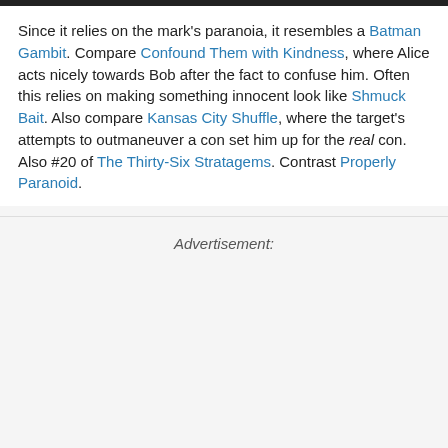Since it relies on the mark's paranoia, it resembles a Batman Gambit. Compare Confound Them with Kindness, where Alice acts nicely towards Bob after the fact to confuse him. Often this relies on making something innocent look like Shmuck Bait. Also compare Kansas City Shuffle, where the target's attempts to outmaneuver a con set him up for the real con. Also #20 of The Thirty-Six Stratagems. Contrast Properly Paranoid.
Advertisement: